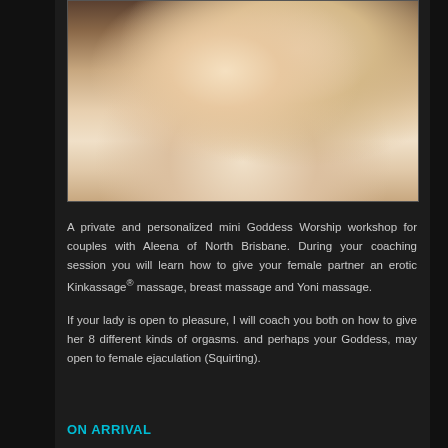[Figure (photo): A couple lying in bed smiling, a woman in the foreground and a man behind her, both appearing happy and relaxed on white pillows.]
A private and personalized mini Goddess Worship workshop for couples with Aleena of North Brisbane. During your coaching session you will learn how to give your female partner an erotic Kinkassage® massage, breast massage and Yoni massage.
If your lady is open to pleasure, I will coach you both on how to give her 8 different kinds of orgasms. and perhaps your Goddess, may open to female ejaculation (Squirting).
ON ARRIVAL